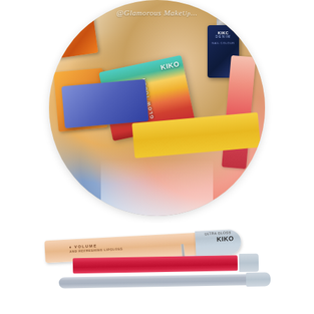[Figure (photo): Circular cropped photo showing KIKO makeup products including Glow Touch eyeshadow palette box with rainbow gradient packaging, a dark navy KIKO Denim nail polish bottle, colorful product boxes in orange/warm tones, and lip color swatches on a white background. Watermark reads '@Glamorous MakeUp...' in script font.]
KIKO Boulevard Rock Collection – Review & Swatches
[Figure (photo): Photo of two KIKO lip gloss tubes. First tube is a peach/nude colored lip gloss with silver cap labeled 'VOLUME' and 'KIKO ULTRA GLOSS'. Second tube is a slim red/pink version. A thin silver lip gloss applicator wand is also visible.]